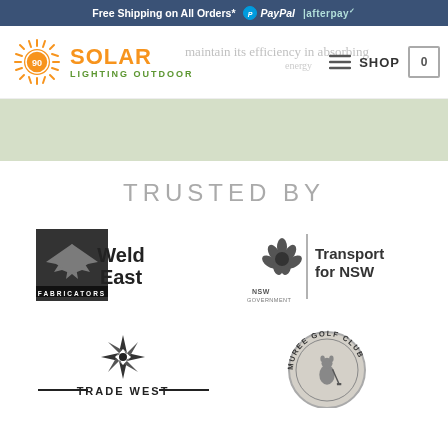Free Shipping on All Orders*  PayPal  afterpay
[Figure (logo): Solar Lighting Outdoor logo with sun icon, orange SOLAR text, green LIGHTING OUTDOOR text]
maintain its efficiency in absorbing energy
SHOP  0
[Figure (illustration): Light green/gray decorative band]
TRUSTED BY
[Figure (logo): Weld East Fabricators logo - black and white]
[Figure (logo): NSW Government - Transport for NSW logo]
[Figure (logo): Trade West logo - black star compass design]
[Figure (logo): Muree Golf Club circular badge logo]